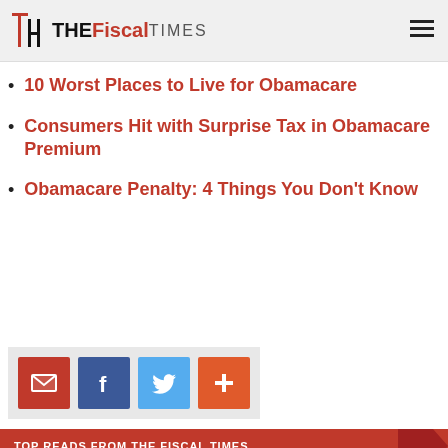The Fiscal Times
10 Worst Places to Live for Obamacare
Consumers Hit with Surprise Tax in Obamacare Premium
Obamacare Penalty: 4 Things You Don't Know
[Figure (infographic): Social share buttons: email (red), Facebook (dark blue), Twitter (light blue), more/plus (orange-red)]
TOP READS FROM THE FISCAL TIMES
We use cookies on this site to enhance your user experience
By clicking the accept link, you agree to us doing so. Give me more info
OK, I accept   No, thanks